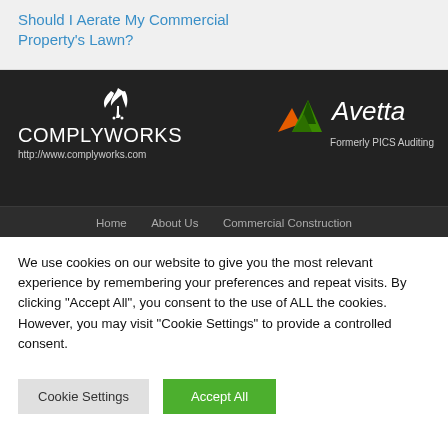Should I Aerate My Commercial Property's Lawn?
[Figure (logo): ComplyWorks logo with leaf icon and URL http://www.complyworks.com on dark background, alongside Avetta (Formerly PICS Auditing) logo with colored triangle icon]
Home   About Us   Commercial Construction
We use cookies on our website to give you the most relevant experience by remembering your preferences and repeat visits. By clicking "Accept All", you consent to the use of ALL the cookies. However, you may visit "Cookie Settings" to provide a controlled consent.
Cookie Settings   Accept All